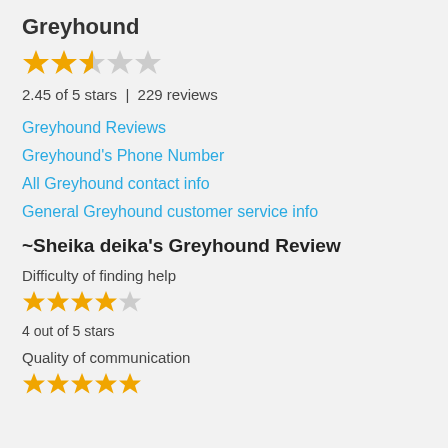Greyhound
[Figure (other): Star rating: 2.45 out of 5, showing 2 filled stars, 1 half star, 2 empty stars]
2.45 of 5 stars  |  229 reviews
Greyhound Reviews
Greyhound's Phone Number
All Greyhound contact info
General Greyhound customer service info
~Sheika deika's Greyhound Review
Difficulty of finding help
[Figure (other): Star rating: 4 out of 5, showing 4 filled stars and 1 empty star]
4 out of 5 stars
Quality of communication
[Figure (other): Star rating row: 5 filled stars (partially shown at bottom)]